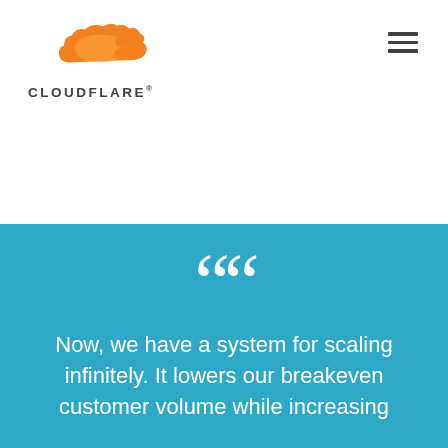[Figure (logo): Cloudflare logo with orange cloud icon and bold dark text reading CLOUDFLARE with registered trademark symbol]
[Figure (other): Hamburger menu icon (three horizontal dark lines) in upper right corner]
““
Now, we have a system for scaling infinitely. It lowers our breakeven customer volume while increasing